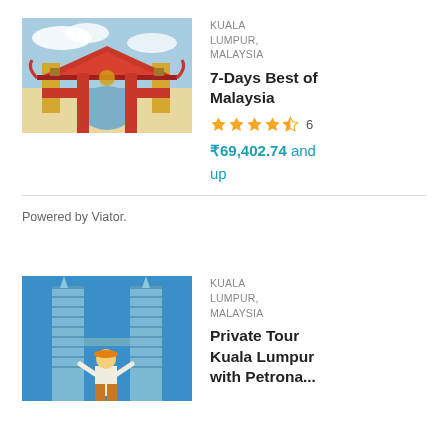[Figure (photo): Photo of a Chinese temple gate with red pillars and colorful roof decorations in Kuala Lumpur, Malaysia]
KUALA LUMPUR, MALAYSIA
7-Days Best of Malaysia
★★★★☆ 6
₹69,402.74 and up
Powered by Viator.
[Figure (photo): Photo of the Petronas Twin Towers with a person in an orange hat looking up at them against a blue sky]
KUALA LUMPUR, MALAYSIA
Private Tour Kuala Lumpur with Petrona...